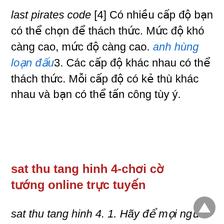last pirates code [4] Có nhiều cấp độ bạn có thể chọn để thách thức. Mức độ khó càng cao, mức độ càng cao. anh hùng loạn đấu3. Các cấp độ khác nhau có thể thách thức. Mỗi cấp độ có kẻ thù khác nhau và bạn có thể tấn công tùy ý.
sat thu tang hinh 4-chơi cờ tướng online trực tuyến
sat thu tang hinh 4. 1. Hãy để mọi người tham gia